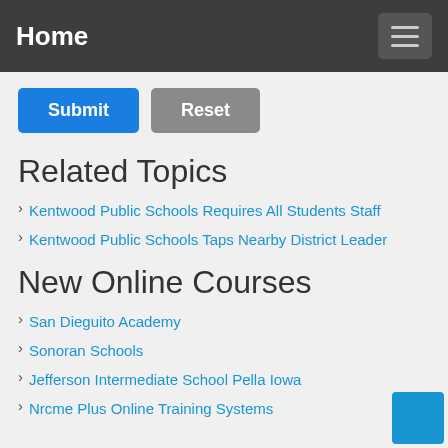Home
Submit | Reset
Related Topics
Kentwood Public Schools Requires All Students Staff
Kentwood Public Schools Taps Nearby District Leader
New Online Courses
San Dieguito Academy
Sonoran Schools
Jefferson Intermediate School Pella Iowa
Nrcme Plus Online Training Systems